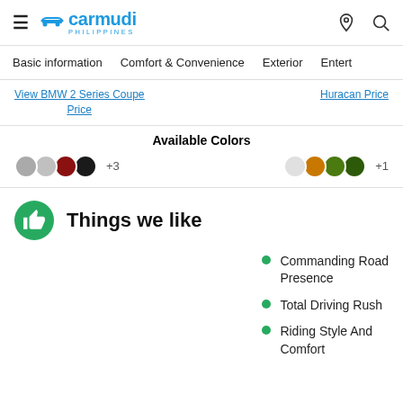[Figure (logo): Carmudi Philippines logo with hamburger menu icon on left and location pin and search icons on right]
Basic information   Comfort & Convenience   Exterior   Entert
View BMW 2 Series Coupe Price
Huracan Price
Available Colors
Color swatches: gray, gray, red, black +3 | white, orange, green, dark green +1
Things we like
Commanding Road Presence
Total Driving Rush
Riding Style And Comfort